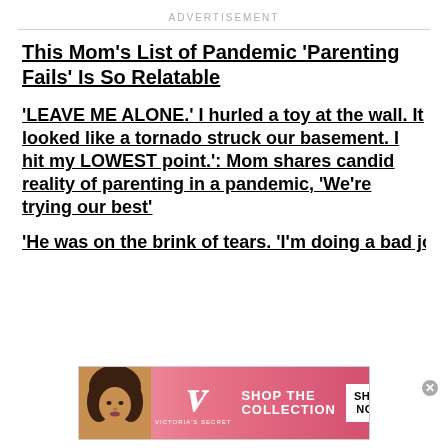ADVERTISEMENT
This Mom’s List of Pandemic ‘Parenting Fails’ Is So Relatable
‘LEAVE ME ALONE.’ I hurled a toy at the wall. It looked like a tornado struck our basement. I hit my LOWEST point.’: Mom shares candid reality of parenting in a pandemic, ‘We’re trying our best’
‘He was on the brink of tears. ‘I’m doing a bad job in first grade.’ I haven’t given
[Figure (infographic): Victoria's Secret advertisement banner with model photo on left, VS logo and brand name in center, 'SHOP THE COLLECTION' text and 'SHOP NOW' button on right, pink background]